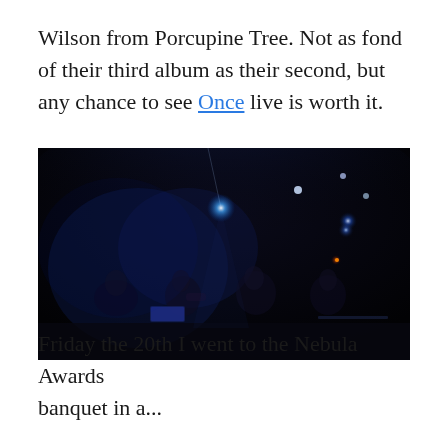Wilson from Porcupine Tree. Not as fond of their third album as their second, but any chance to see Once live is worth it.
[Figure (photo): Dark concert photo showing band members on a dimly lit stage with blue stage lights visible above. Musicians are barely visible in the dark ambiance.]
Friday the 20th I went to the Nebula Awards banquet in a...